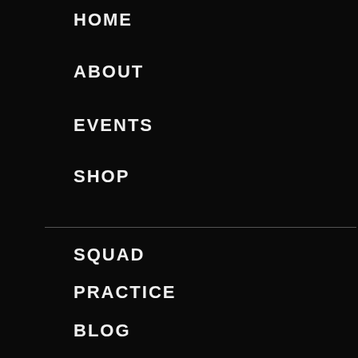HOME
ABOUT
EVENTS
SHOP
SQUAD
PRACTICE
BLOG
CONTACT
CORPORATE EVENTS